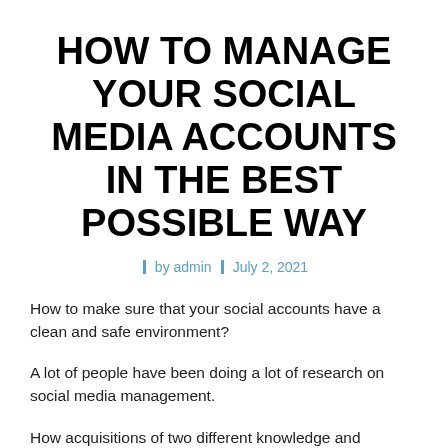HOW TO MANAGE YOUR SOCIAL MEDIA ACCOUNTS IN THE BEST POSSIBLE WAY
by admin   July 2, 2021
How to make sure that your social accounts have a clean and safe environment?
A lot of people have been doing a lot of research on social media management.